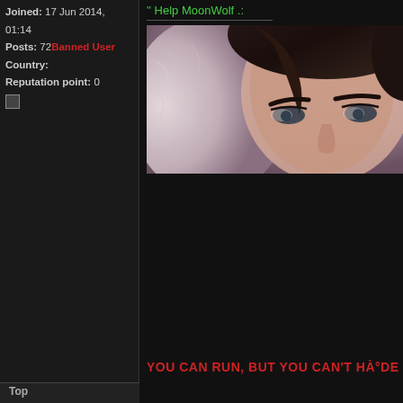Joined: 17 Jun 2014, 01:14
Posts: 72 Banned User
Country:
Reputation point: 0
'' Help MoonWolf .:
[Figure (photo): Close-up photo of a young woman with dark hair pulled back, wearing a fur-trimmed hood/collar, looking directly at camera with prominent eyebrows]
YOU CAN RUN, BUT YOU CAN'T HÀ°DE
Top